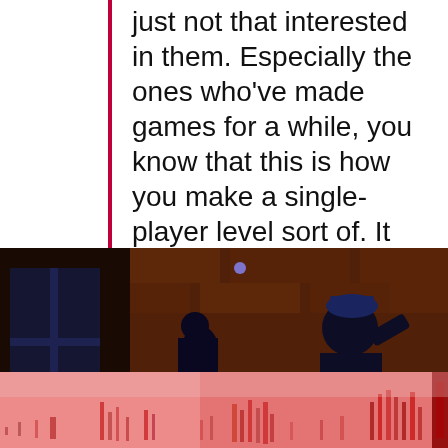just not that interested in them. Especially the ones who've made games for a while, you know that this is how you make a single-player level sort of. It becomes very blatant, so I can't enjoy this for this reason and it seems very fake.
[Figure (screenshot): Dark video game screenshot showing silhouetted characters against a stone wall background with blue lighting accents. Two figures appear to be in a combat or interaction scene.]
[Figure (screenshot): Colorful audio spectrum or waveform visualization with pink and orange background, showing vertical bar patterns resembling an equalizer display.]